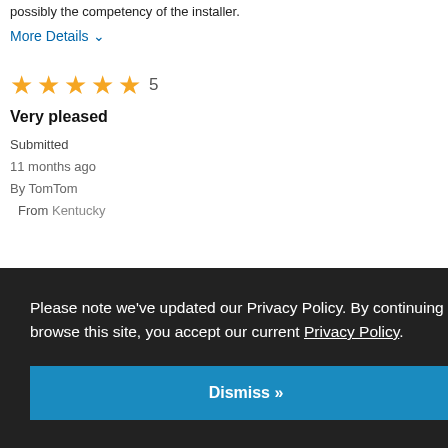possibly the competency of the installer.
More Details ∨
[Figure (other): 5 yellow star rating icons with the number 5]
Very pleased
Submitted
11 months ago
By TomTom
    From Kentucky
Please note we've updated our Privacy Policy. By continuing to browse this site, you accept our current Privacy Policy.
Dismiss »
From Jacksonville, FL